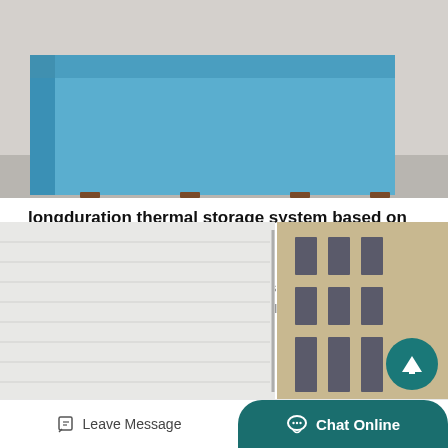[Figure (photo): Blue industrial container or storage unit sitting on brown wooden legs on a concrete floor, viewed from an angle showing the top and front face.]
longduration thermal storage system based on silica sand
Longduration thermal storage system based on silica sand. developed by italian dry bottom ash handling system provide…
Get Price
[Figure (photo): Left side shows a light gray industrial or corrugated surface with a vertical divider line. Right side shows the facade of a building with stone cladding and dark windows.]
Leave Message
Chat Online